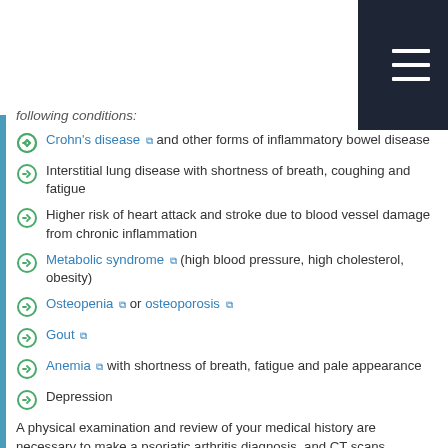following conditions:
Crohn's disease [external link] and other forms of inflammatory bowel disease
Interstitial lung disease with shortness of breath, coughing and fatigue
Higher risk of heart attack and stroke due to blood vessel damage from chronic inflammation
Metabolic syndrome [external link] (high blood pressure, high cholesterol, obesity)
Osteopenia [external link] or osteoporosis [external link]
Gout [external link]
Anemia [external link] with shortness of breath, fatigue and pale appearance
Depression
A physical examination and review of your medical history are necessary to make a psoriatic arthritis diagnosis, and CT scans,